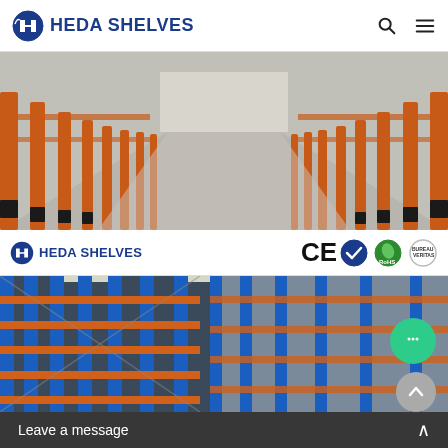HEDA SHELVES navigation bar with logo, search and menu icons
[Figure (photo): Warehouse interior with orange and black vertical racking columns and long concrete aisle extending to vanishing point]
HEDA SHELVES logo with CE, RoHS and other certification badges
[Figure (photo): Warehouse interior with orange horizontal beams on blue vertical uprights, tall multi-level pallet racking system]
Leave a message